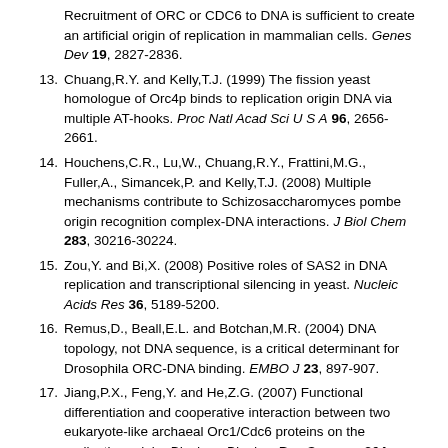Recruitment of ORC or CDC6 to DNA is sufficient to create an artificial origin of replication in mammalian cells. Genes Dev 19, 2827-2836.
13. Chuang,R.Y. and Kelly,T.J. (1999) The fission yeast homologue of Orc4p binds to replication origin DNA via multiple AT-hooks. Proc Natl Acad Sci U S A 96, 2656-2661.
14. Houchens,C.R., Lu,W., Chuang,R.Y., Frattini,M.G., Fuller,A., Simancek,P. and Kelly,T.J. (2008) Multiple mechanisms contribute to Schizosaccharomyces pombe origin recognition complex-DNA interactions. J Biol Chem 283, 30216-30224.
15. Zou,Y. and Bi,X. (2008) Positive roles of SAS2 in DNA replication and transcriptional silencing in yeast. Nucleic Acids Res 36, 5189-5200.
16. Remus,D., Beall,E.L. and Botchan,M.R. (2004) DNA topology, not DNA sequence, is a critical determinant for Drosophila ORC-DNA binding. EMBO J 23, 897-907.
17. Jiang,P.X., Feng,Y. and He,Z.G. (2007) Functional differentiation and cooperative interaction between two eukaryote-like archaeal Orc1/Cdc6 proteins on the replication origin. Biochem Biophys Res Commun 364, 945-951.
18. Speck,C., Chen,Z., Li,H. and Stillman,B. (2005) ATPase-dependent cooperative binding of ORC and Cdc6 to origin DNA. Nat Struct Mol Biol 12, 965-971.